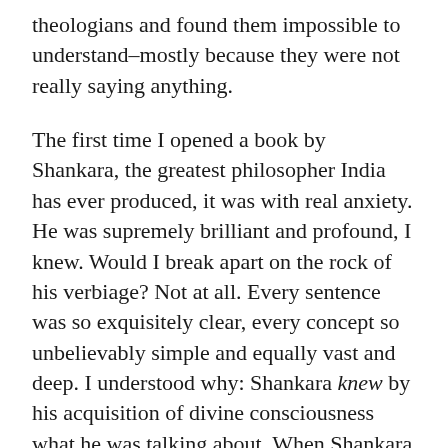theologians and found them impossible to understand–mostly because they were not really saying anything.
The first time I opened a book by Shankara, the greatest philosopher India has ever produced, it was with real anxiety. He was supremely brilliant and profound, I knew. Would I break apart on the rock of his verbiage? Not at all. Every sentence was so exquisitely clear, every concept so unbelievably simple and equally vast and deep. I understood why: Shankara knew by his acquisition of divine consciousness what he was talking about. When Shankara talked